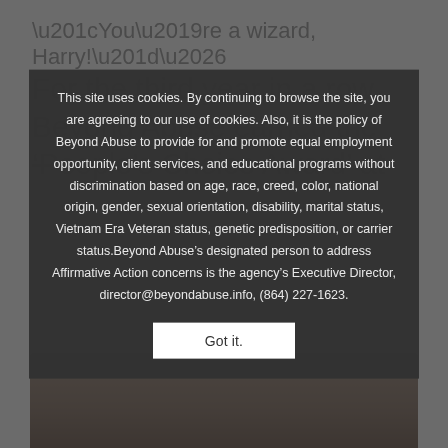“You’re a wizard, Harry!”…
For the third year in a row, Beyond Abuse earned the ‘People’s Choice Award’ at
This site uses cookies. By continuing to browse the site, you are agreeing to our use of cookies. Also, it is the policy of Beyond Abuse to provide for and promote equal employment opportunity, client services, and educational programs without discrimination based on age, race, creed, color, national origin, gender, sexual orientation, disability, marital status, Vietnam Era Veteran status, genetic predisposition, or carrier status.Beyond Abuse’s designated person to address Affirmative Action concerns is the agency’s Executive Director, director@beyondabuse.info, (864) 227-1623.
Got it.